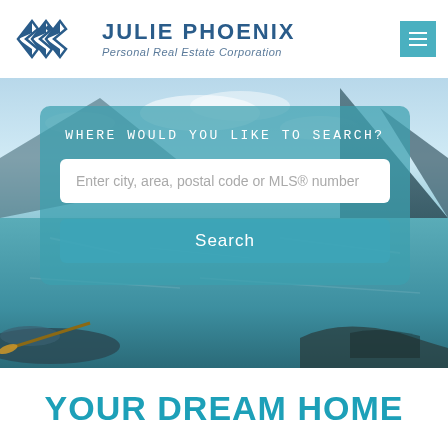JULIE PHOENIX Personal Real Estate Corporation
[Figure (screenshot): Hero image of a mountain lake scene with kayak in foreground, overlaid with a semi-transparent teal search panel containing a search prompt, text input field, and Search button]
YOUR DREAM HOME AWAITS!